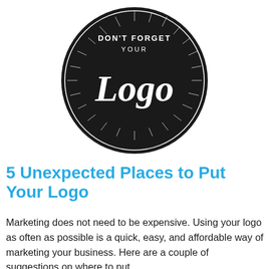[Figure (illustration): Black circular badge/logo illustration with text 'DON'T FORGET YOUR Logo' in white lettering with radiating lines on a dark background]
5 Unexpected Places to Put Your Logo
Marketing does not need to be expensive. Using your logo as often as possible is a quick, easy, and affordable way of marketing your business. Here are a couple of suggestions on where to put